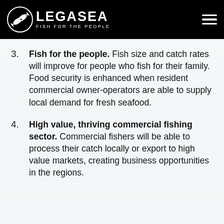LegaSea — Fish for the People
3. Fish for the people. Fish size and catch rates will improve for people who fish for their family. Food security is enhanced when resident commercial owner-operators are able to supply local demand for fresh seafood.
4. High value, thriving commercial fishing sector. Commercial fishers will be able to process their catch locally or export to high value markets, creating business opportunities in the regions.